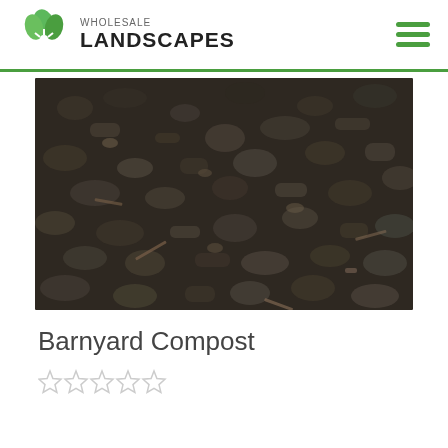Wholesale LANDSCAPES
[Figure (photo): Close-up photo of dark barnyard compost material showing chunky organic matter, dark brown/black in color with visible wood chips and organic debris]
Barnyard Compost
[Figure (other): Five empty/outline star rating symbols indicating no rating yet]